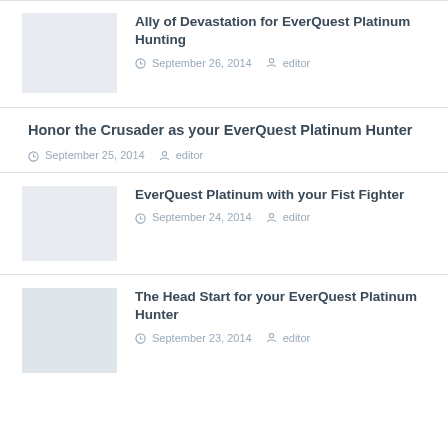Ally of Devastation for EverQuest Platinum Hunting
September 26, 2014   editor
Honor the Crusader as your EverQuest Platinum Hunter
September 25, 2014   editor
EverQuest Platinum with your Fist Fighter
September 24, 2014   editor
The Head Start for your EverQuest Platinum Hunter
September 23, 2014   editor